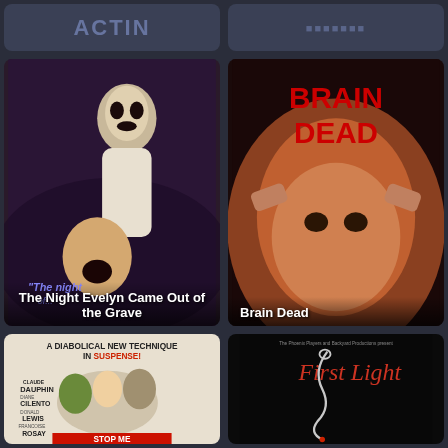[Figure (screenshot): Top-left header bar with app/site branding, dark blue-gray background]
[Figure (screenshot): Top-right header bar with dark blue-gray background]
[Figure (photo): Movie poster for 'The Night Evelyn Came Out of the Grave' — horror film art with skeleton woman and screaming man]
The Night Evelyn Came Out of the Grave
[Figure (photo): Movie poster for 'Brain Dead' — red block letters over man holding his head in distress]
Brain Dead
[Figure (photo): Movie poster for 'Stop Me' — vintage horror/thriller poster with text 'A Diabolical New Technique in Suspense!' featuring Claude Dauphin, Diane Cilento, Donald Lewis, Francoise Rosay]
[Figure (photo): Movie poster for 'First Light' — dark background with white rope/wire forming a shape, text 'First Light' and small production company credits at top]